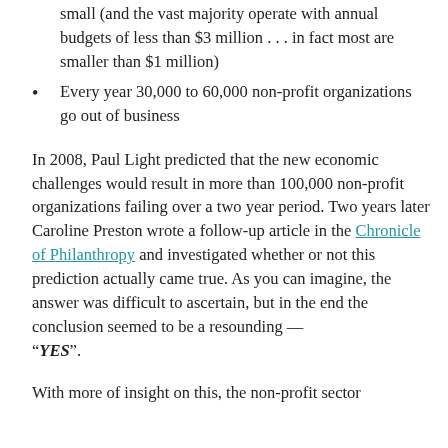small (and the vast majority operate with annual budgets of less than $3 million . . . in fact most are smaller than $1 million)
Every year 30,000 to 60,000 non-profit organizations go out of business
In 2008, Paul Light predicted that the new economic challenges would result in more than 100,000 non-profit organizations failing over a two year period. Two years later Caroline Preston wrote a follow-up article in the Chronicle of Philanthropy and investigated whether or not this prediction actually came true. As you can imagine, the answer was difficult to ascertain, but in the end the conclusion seemed to be a resounding — "YES".
With more of insight on this, the non-profit sector